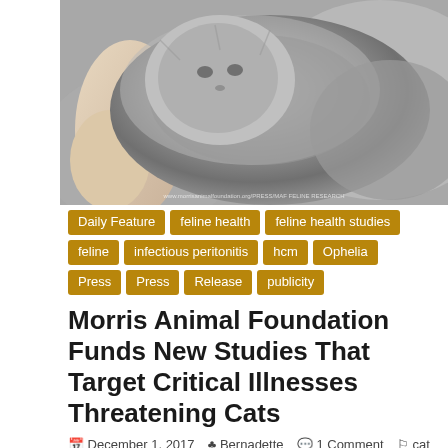[Figure (photo): Gray fluffy cat being held, close-up photograph]
Daily Feature
feline health
feline health studies
feline infectious peritonitis
hcm
Ophelia
Press
Press Release
publicity
Morris Animal Foundation Funds New Studies That Target Critical Illnesses Threatening Cats
December 1, 2017  Bernadette  1 Comment  cat health studies, feline chronic kidney disease, feline health studies, feline herpesvirus, feline hert disease, feline infectious peritonitis, feline panleukopenia, morris animal foundation, panleukopenia,